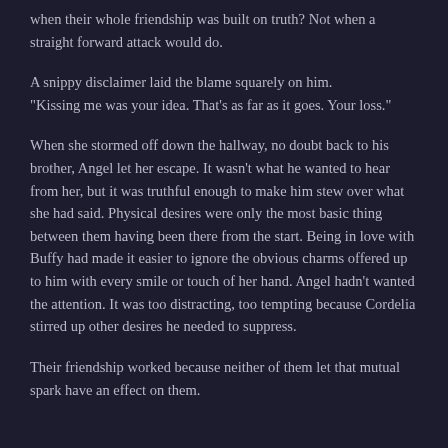when their whole friendship was built on truth? Not when a straight forward attack would do.
A snippy disclaimer laid the blame squarely on him. "Kissing me was your idea. That's as far as it goes. Your loss."
When she stormed off down the hallway, no doubt back to his brother, Angel let her escape. It wasn't what he wanted to hear from her, but it was truthful enough to make him stew over what she had said. Physical desires were only the most basic thing between them having been there from the start. Being in love with Buffy had made it easier to ignore the obvious charms offered up to him with every smile or touch of her hand. Angel hadn't wanted the attention. It was too distracting, too tempting because Cordelia stirred up other desires he needed to suppress.
Their friendship worked because neither of them let that mutual spark have an effect on them.